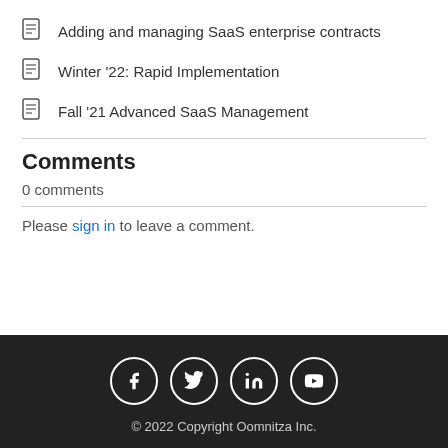Adding and managing SaaS enterprise contracts
Winter '22: Rapid Implementation
Fall '21 Advanced SaaS Management
Comments
0 comments
Please sign in to leave a comment.
© 2022 Copyright Oomnitza Inc.